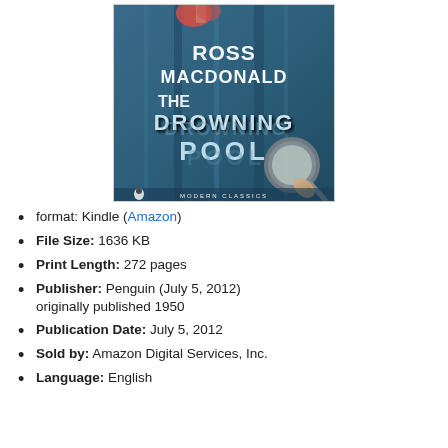[Figure (illustration): Book cover of 'The Drowning Pool' by Ross Macdonald, Penguin Modern Classics edition. Features a blue-toned cover with a woman's legs visible at the top, large stylized text reading 'ROSS MACDONALD' and 'THE DROWNING POOL', and a magnifying glass held by a hand in the lower right corner.]
format: Kindle (Amazon)
File Size: 1636 KB
Print Length: 272 pages
Publisher: Penguin (July 5, 2012) originally published 1950
Publication Date: July 5, 2012
Sold by: Amazon Digital Services, Inc.
Language: English